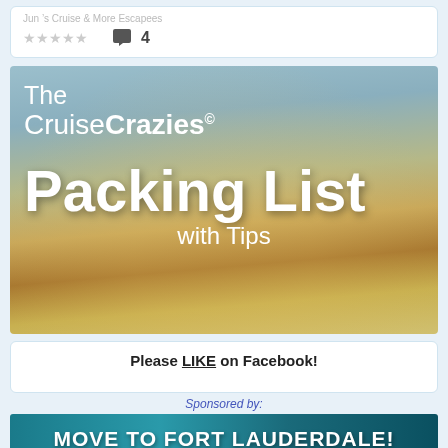★★★★★  💬 4
[Figure (photo): A yellow vintage suitcase open and packed with beach items including a hat, flip flops, starfish, camera, and sunglasses on a sandy beach background, overlaid with white text reading 'The CruiseCrazies© Packing List with Tips']
Please LIKE on Facebook!
Sponsored by:
[Figure (infographic): Teal/blue advertisement banner reading 'MOVE TO FORT LAUDERDALE!']